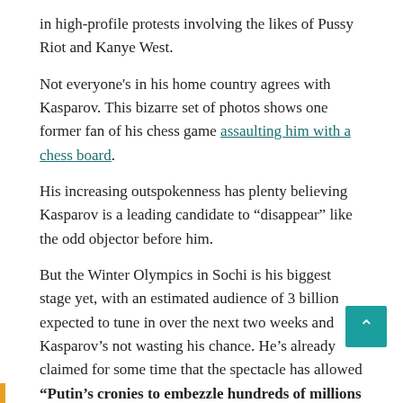in high-profile protests involving the likes of Pussy Riot and Kanye West.
Not everyone's in his home country agrees with Kasparov. This bizarre set of photos shows one former fan of his chess game assaulting him with a chess board.
His increasing outspokenness has plenty believing Kasparov is a leading candidate to “disappear” like the odd objector before him.
But the Winter Olympics in Sochi is his biggest stage yet, with an estimated audience of 3 billion expected to tune in over the next two weeks and Kasparov’s not wasting his chance. He’s already claimed for some time that the spectacle has allowed “Putin’s cronies to embezzle hundreds of millions of dollars” and asked Coca-Cola to put a rainbow flag on its cans in defiance of Putin’s antigay laws.
Full article here: http://www.businessinsider.com.au
Chess Daily News from Susan Polgar